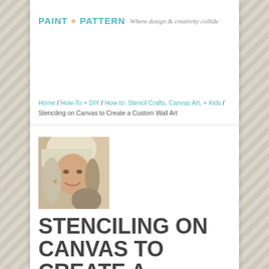PAINT + PATTERN — Where design & creativity collide
Home / How-To + DIY / How to: Stencil Crafts, Canvas Art, + Kids / Stenciling on Canvas to Create a Custom Wall Art
[Figure (photo): Portrait photo of a smiling woman with blonde hair]
STENCILING ON CANVAS TO CREATE A